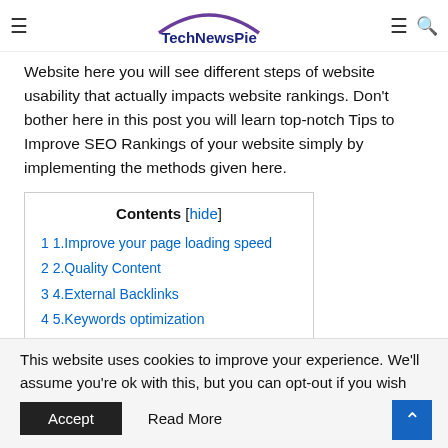TechNewsPie
Website here you will see different steps of website usability that actually impacts website rankings. Don't bother here in this post you will learn top-notch Tips to Improve SEO Rankings of your website simply by implementing the methods given here.
| Contents |
| --- |
| 1 1.Improve your page loading speed |
| 2 2.Quality Content |
| 3 4.External Backlinks |
| 4 5.Keywords optimization |
| 5 6.Start Blogging |
This website uses cookies to improve your experience. We'll assume you're ok with this, but you can opt-out if you wish